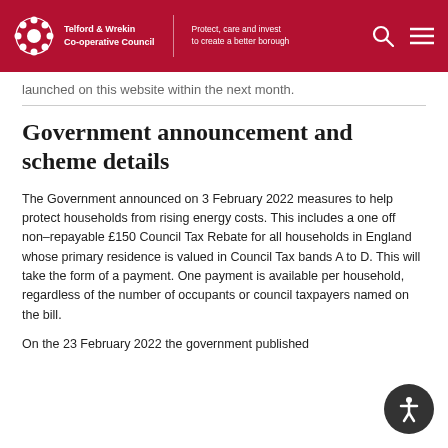Telford & Wrekin Co-operative Council — Protect, care and invest to create a better borough
launched on this website within the next month.
Government announcement and scheme details
The Government announced on 3 February 2022 measures to help protect households from rising energy costs. This includes a one off non–repayable £150 Council Tax Rebate for all households in England whose primary residence is valued in Council Tax bands A to D. This will take the form of a payment. One payment is available per household, regardless of the number of occupants or council taxpayers named on the bill.
On the 23 February 2022 the government published